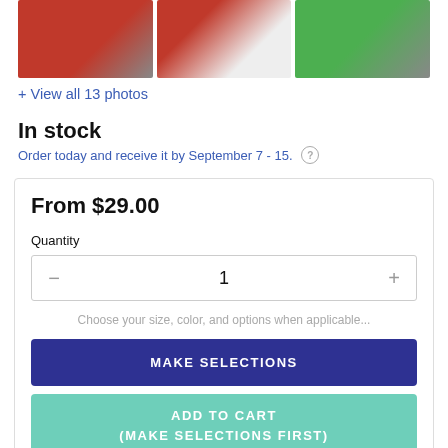[Figure (photo): Three product photo thumbnails showing tablet/device images]
+ View all 13 photos
In stock
Order today and receive it by September 7 - 15.
From $29.00
Quantity
1
Choose your size, color, and options when applicable...
MAKE SELECTIONS
ADD TO CART
(MAKE SELECTIONS FIRST)